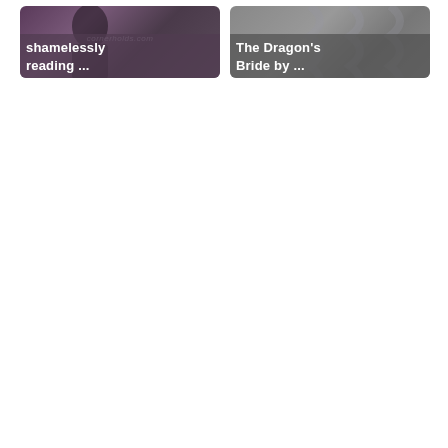[Figure (screenshot): Left thumbnail card with dark purple/maroon background showing a person's silhouette and text overlay reading 'shamelessly reading ...' with a cornerholds.com watermark]
[Figure (screenshot): Right thumbnail card with grey background and text overlay reading 'The Dragon's Bride by ...']